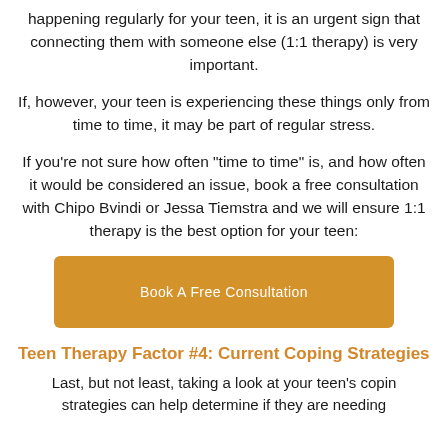happening regularly for your teen, it is an urgent sign that connecting them with someone else (1:1 therapy) is very important.
If, however, your teen is experiencing these things only from time to time, it may be part of regular stress.
If you’re not sure how often “time to time” is, and how often it would be considered an issue, book a free consultation with Chipo Bvindi or Jessa Tiemstra and we will ensure 1:1 therapy is the best option for your teen:
[Figure (other): Orange button labeled 'Book A Free Consultation']
Teen Therapy Factor #4: Current Coping Strategies
Last, but not least, taking a look at your teen’s coping strategies can help determine if they are needing